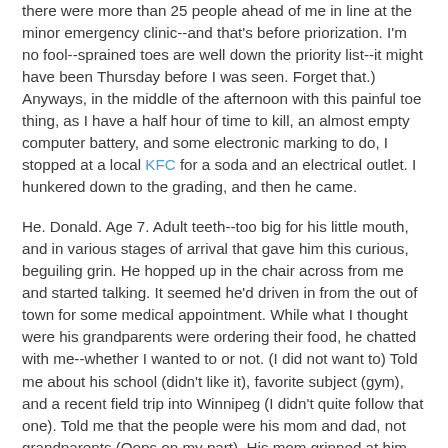there were more than 25 people ahead of me in line at the minor emergency clinic--and that's before priorization. I'm no fool--sprained toes are well down the priority list--it might have been Thursday before I was seen. Forget that.) Anyways, in the middle of the afternoon with this painful toe thing, as I have a half hour of time to kill, an almost empty computer battery, and some electronic marking to do, I stopped at a local KFC for a soda and an electrical outlet. I hunkered down to the grading, and then he came.
He. Donald. Age 7. Adult teeth--too big for his little mouth, and in various stages of arrival that gave him this curious, beguiling grin. He hopped up in the chair across from me and started talking. It seemed he'd driven in from the out of town for some medical appointment. While what I thought were his grandparents were ordering their food, he chatted with me--whether I wanted to or not. (I did not want to) Told me about his school (didn't like it), favorite subject (gym), and a recent field trip into Winnipeg (I didn't quite follow that one). Told me that the people were his mom and dad, not grandparents (Oops on my part). His mom grinned at him and I as she went to the table, not seeming at all surprised at